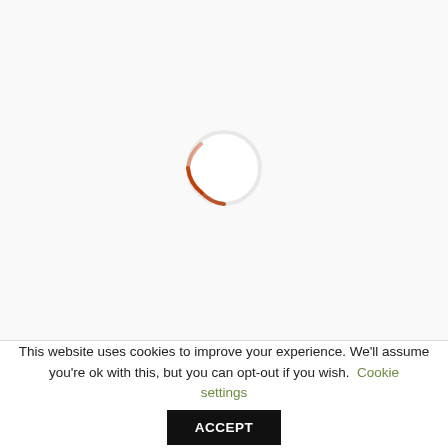[Figure (other): A loading spinner circle with an orange-brown gradient arc on the lower-left portion of the circle, the rest of the ring is white/light, centered in the upper white area of the page.]
This website uses cookies to improve your experience. We'll assume you're ok with this, but you can opt-out if you wish. Cookie settings
ACCEPT